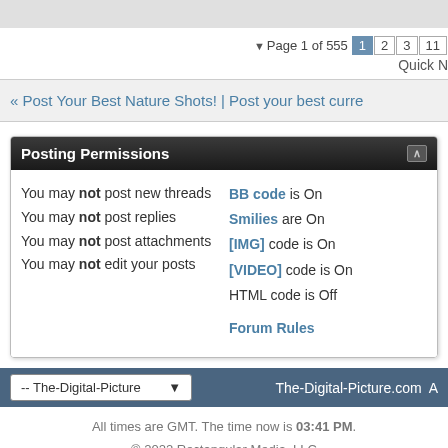Page 1 of 555  1 2 3 11
Quick N
« Post Your Best Nature Shots! | Post your best curre
Posting Permissions
You may not post new threads
You may not post replies
You may not post attachments
You may not edit your posts
BB code is On
Smilies are On
[IMG] code is On
[VIDEO] code is On
HTML code is Off
Forum Rules
-- The-Digital-Picture   The-Digital-Picture.com A
All times are GMT. The time now is 03:41 PM.
© 2022 Rectangular Media, LLC